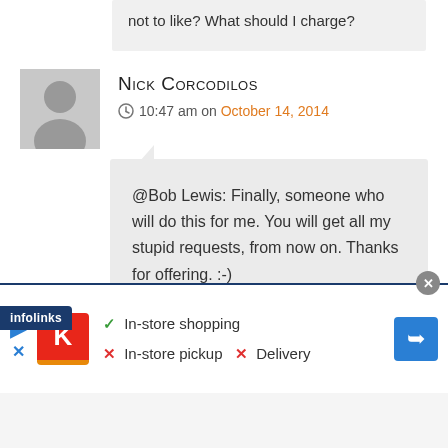not to like? What should I charge?
Nick Corcodilos
10:47 am on October 14, 2014
@Bob Lewis: Finally, someone who will do this for me. You will get all my stupid requests, from now on. Thanks for offering. :-)
[Figure (screenshot): Infolinks advertisement bar at bottom showing Kmart ad with in-store shopping (checkmark), in-store pickup (X), and Delivery (X) options]